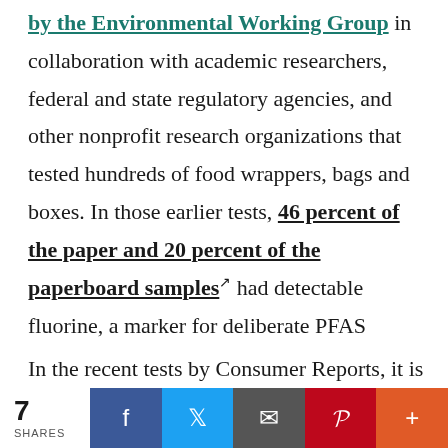by the Environmental Working Group in collaboration with academic researchers, federal and state regulatory agencies, and other nonprofit research organizations that tested hundreds of food wrappers, bags and boxes. In those earlier tests, 46 percent of the paper and 20 percent of the paperboard samples had detectable fluorine, a marker for deliberate PFAS usage, at a level attributed to intentional use.
In the recent tests by Consumer Reports, it is
7 SHARES | Facebook | Twitter | Email | Pinterest | More